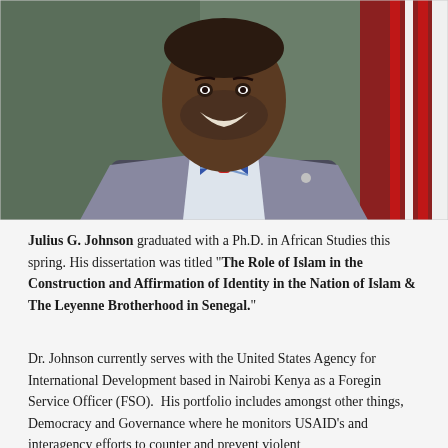[Figure (photo): Portrait photo of Julius G. Johnson, a smiling man wearing a grey suit jacket, a red and blue striped bow tie, and a white shirt, with an American flag partially visible in the background.]
Julius G. Johnson graduated with a Ph.D. in African Studies this spring. His dissertation was titled "The Role of Islam in the Construction and Affirmation of Identity in the Nation of Islam & The Leyenne Brotherhood in Senegal."
Dr. Johnson currently serves with the United States Agency for International Development based in Nairobi Kenya as a Foregin Service Officer (FSO).  His portfolio includes amongst other things, Democracy and Governance where he monitors USAID's and interagency efforts to counter and prevent violent